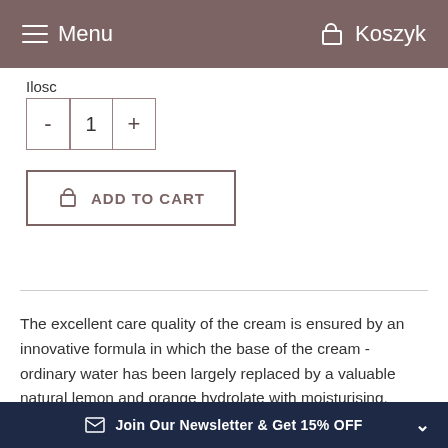Menu  Koszyk
Ilosc
- 1 +
ADD TO CART
The excellent care quality of the cream is ensured by an innovative formula in which the base of the cream - ordinary water has been largely replaced by a valuable natural lemon and orange hydrolate with moisturising, toning and antioxidant properties, thanks to which over 70% of the ingredients of the entire cream are aimed at active
Join Our Newsletter & Get 15% OFF